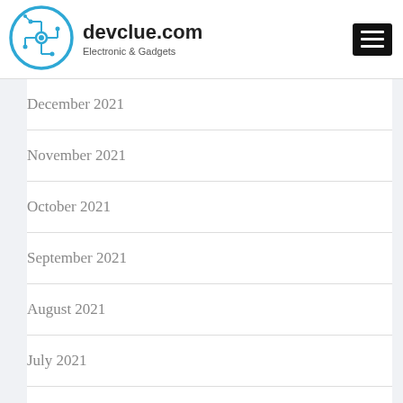[Figure (logo): devclue.com circuit board logo in blue circle]
devclue.com
Electronic & Gadgets
December 2021
November 2021
October 2021
September 2021
August 2021
July 2021
June 2021